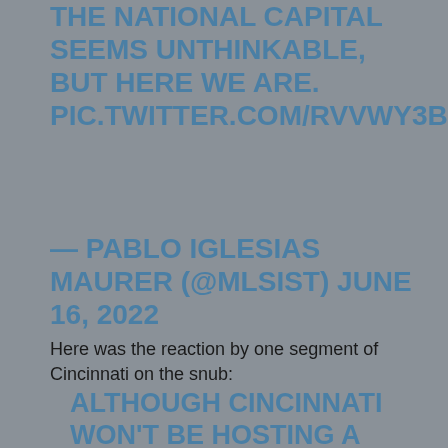THE NATIONAL CAPITAL SEEMS UNTHINKABLE, BUT HERE WE ARE. PIC.TWITTER.COM/RVVWY3BYJM
— PABLO IGLESIAS MAURER (@MLSIST) JUNE 16, 2022
Here was the reaction by one segment of Cincinnati on the snub:
ALTHOUGH CINCINNATI WON'T BE HOSTING A WORLD CUP GAME, THANK YOU HAMILTON COUNTY COMMISSIONERS FOR TRYING TO SHOW THE WORLD WHAT WE ALREADY KNOW: CINCINNATI IS A